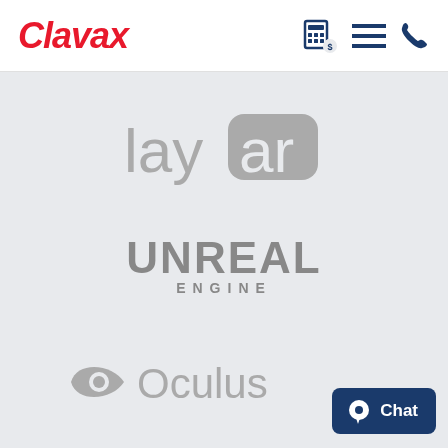Clavax
[Figure (logo): Layar logo - grey text with 'lay' and 'ar' in a rounded rectangle]
[Figure (logo): Unreal Engine logo - grey bold uppercase text]
[Figure (logo): Oculus logo - grey eye icon with 'Oculus' text]
Chat